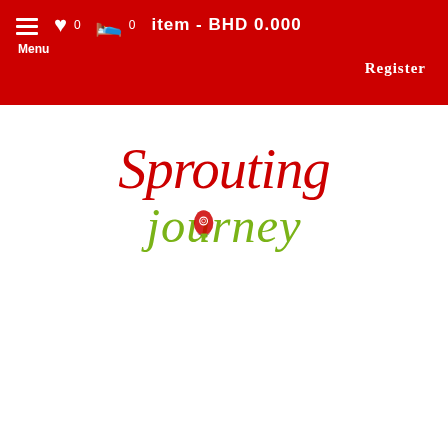Menu  0  0  item - BHD 0.000  Register
[Figure (logo): Sprouting Journey logo — 'Sprouting' in red decorative font, 'journey' in green decorative font with a hot air balloon in the letter 'o']